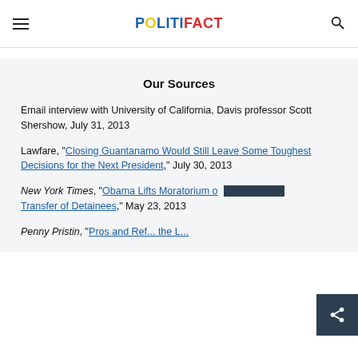POLITIFACT
Our Sources
Email interview with University of California, Davis professor Scott Shershow, July 31, 2013
Lawfare, "Closing Guantanamo Would Still Leave Some Toughest Decisions for the Next President," July 30, 2013
New York Times, "Obama Lifts Moratorium on Transfer of Detainees," May 23, 2013
Penny Pristin, "Pros and ...